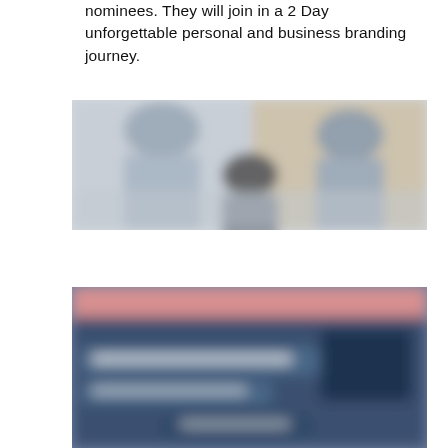nominees. They will join in a 2 Day unforgettable personal and business branding journey.
[Figure (photo): Blurred photo of people in a meeting or office setting, viewed from above or behind, with light grey/blue tones]
[Figure (photo): Blurred photo showing what appears to be a digital/social media branding screen or presentation with dark blue and pink tones, with white text overlaid]